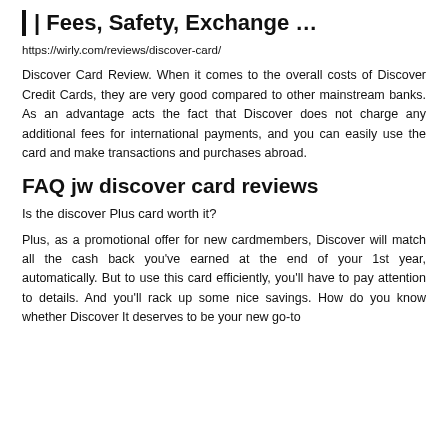| Fees, Safety, Exchange …
https://wirly.com/reviews/discover-card/
Discover Card Review. When it comes to the overall costs of Discover Credit Cards, they are very good compared to other mainstream banks. As an advantage acts the fact that Discover does not charge any additional fees for international payments, and you can easily use the card and make transactions and purchases abroad.
FAQ jw discover card reviews
Is the discover Plus card worth it?
Plus, as a promotional offer for new cardmembers, Discover will match all the cash back you've earned at the end of your 1st year, automatically. But to use this card efficiently, you'll have to pay attention to details. And you'll rack up some nice savings. How do you know whether Discover It deserves to be your new go-to